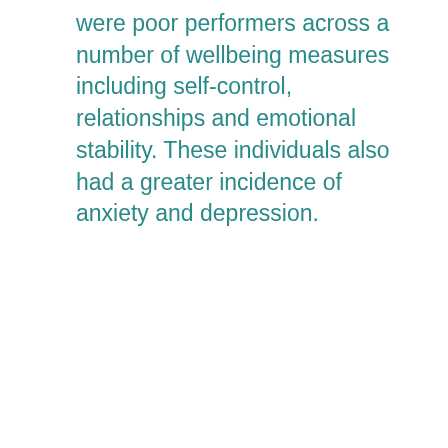were poor performers across a number of wellbeing measures including self-control, relationships and emotional stability. These individuals also had a greater incidence of anxiety and depression.